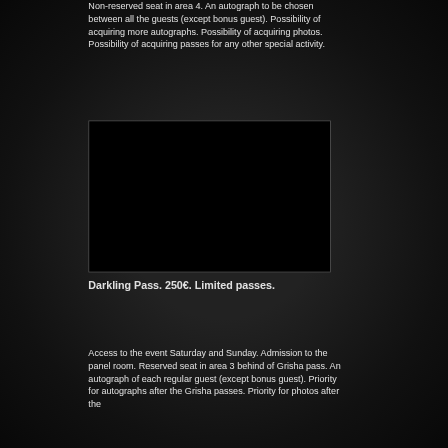Non-reserved seat in area 4. An autograph to be chosen between all the guests (except bonus guest). Possibility of acquiring more autographs. Possibility of acquiring photos. Possibility of acquiring passes for any other special activity.
[Figure (photo): A dark/black rectangular image placeholder with a thin border, likely a promotional or product image.]
Darkling Pass. 250€. Limited passes.
Access to the event Saturday and Sunday. Admission to the panel room. Reserved seat in area 3 behind of Grisha pass. An autograph of each regular guest (except bonus guest). Priority for autographs after the Grisha passes. Priority for photos after the